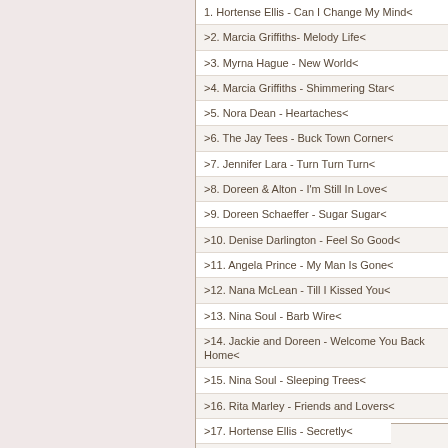1. Hortense Ellis - Can I Change My Mind<
>2. Marcia Griffiths- Melody Life<
>3. Myrna Hague - New World<
>4. Marcia Griffiths - Shimmering Star<
>5. Nora Dean - Heartaches<
>6. The Jay Tees - Buck Town Corner<
>7. Jennifer Lara - Turn Turn Turn<
>8. Doreen & Alton - I'm Still In Love<
>9. Doreen Schaeffer - Sugar Sugar<
>10. Denise Darlington - Feel So Good<
>11. Angela Prince - My Man Is Gone<
>12. Nana McLean - Till I Kissed You<
>13. Nina Soul - Barb Wire<
>14. Jackie and Doreen - Welcome You Back Home<
>15. Nina Soul - Sleeping Trees<
>16. Rita Marley - Friends and Lovers<
>17. Hortense Ellis - Secretly<
>18. Marcia Griffiths - You're No Good
noch mehr von Various Artists